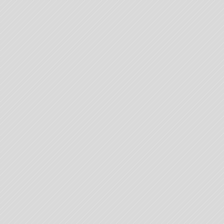[Figure (screenshot): Code block showing line numbers 1-4 (top code snippet, partially visible)]
Next step is to loop ... task is to place the ... in the correct order
[Figure (screenshot): Code block showing line numbers 1-11 (larger code snippet)]
What this first part of... search if the current... then it will return -1... Because we are in ... predictable.